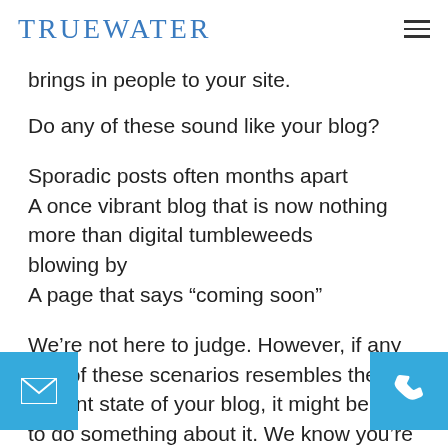TRUEWATER
brings in people to your site.
Do any of these sound like your blog?
Sporadic posts often months apart
A once vibrant blog that is now nothing more than digital tumbleweeds blowing by
A page that says “coming soon”
We’re not here to judge. However, if any one of these scenarios resembles the current state of your blog, it might be time to do something about it. We know you’re busy and that the last